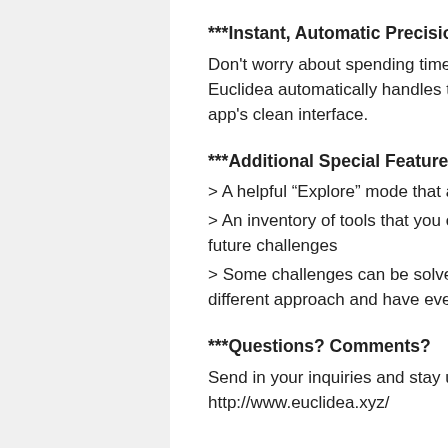***Instant, Automatic Precision***
Don’t worry about spending time or effort trying to achieve perfect precision, because Euclidea automatically handles that task by pinning points, lines and circles to the app’s clean interface.
***Additional Special Features***
> A helpful “Explore” mode that allows you to see the figure you need to construct
> An inventory of tools that you create as you progress – you’ll need these to solve future challenges
> Some challenges can be solved in more than one way, which means you can try a different approach and have even more fun
***Questions? Comments?
Send in your inquiries and stay up-to-date on the latest Euclidea news at http://www.euclidea.xyz/